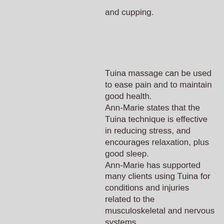and cupping.
Tuina massage can be used to ease pain and to maintain good health. Ann-Marie states that the Tuina technique is effective in reducing stress, and encourages relaxation, plus good sleep. Ann-Marie has supported many clients using Tuina for conditions and injuries related to the musculoskeletal and nervous systems